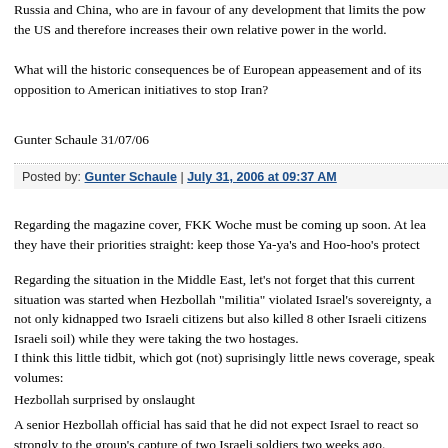Russia and China, who are in favour of any development that limits the power of the US and therefore increases their own relative power in the world.
What will the historic consequences be of European appeasement and of its opposition to American initiatives to stop Iran?
Gunter Schaule 31/07/06
Posted by: Gunter Schaule | July 31, 2006 at 09:37 AM
Regarding the magazine cover, FKK Woche must be coming up soon. At least they have their priorities straight: keep those Ya-ya's and Hoo-hoo's protected.
Regarding the situation in the Middle East, let's not forget that this current situation was started when Hezbollah "militia" violated Israel's sovereignty, and not only kidnapped two Israeli citizens but also killed 8 other Israeli citizens (on Israeli soil) while they were taking the two hostages.
I think this little tidbit, which got (not) suprisingly little news coverage, speaks volumes:
Hezbollah surprised by onslaught
A senior Hezbollah official has said that he did not expect Israel to react so strongly to the group's capture of two Israeli soldiers two weeks ago.